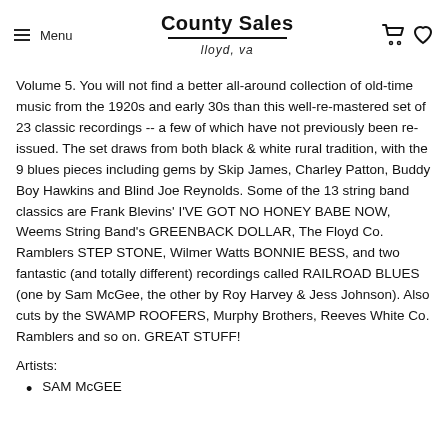Menu | County Sales lloyd, va
Volume 5. You will not find a better all-around collection of old-time music from the 1920s and early 30s than this well-re-mastered set of 23 classic recordings -- a few of which have not previously been re-issued. The set draws from both black & white rural tradition, with the 9 blues pieces including gems by Skip James, Charley Patton, Buddy Boy Hawkins and Blind Joe Reynolds. Some of the 13 string band classics are Frank Blevins' I'VE GOT NO HONEY BABE NOW, Weems String Band's GREENBACK DOLLAR, The Floyd Co. Ramblers STEP STONE, Wilmer Watts BONNIE BESS, and two fantastic (and totally different) recordings called RAILROAD BLUES (one by Sam McGee, the other by Roy Harvey & Jess Johnson). Also cuts by the SWAMP ROOFERS, Murphy Brothers, Reeves White Co. Ramblers and so on. GREAT STUFF!
Artists:
SAM McGEE